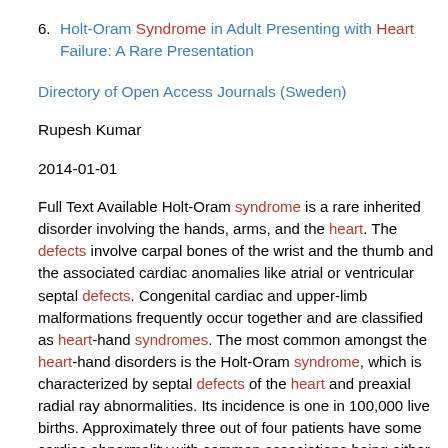6. Holt-Oram Syndrome in Adult Presenting with Heart Failure: A Rare Presentation
Directory of Open Access Journals (Sweden)
Rupesh Kumar
2014-01-01
Full Text Available Holt-Oram syndrome is a rare inherited disorder involving the hands, arms, and the heart. The defects involve carpal bones of the wrist and the thumb and the associated cardiac anomalies like atrial or ventricular septal defects. Congenital cardiac and upper-limb malformations frequently occur together and are classified as heart-hand syndromes. The most common amongst the heart-hand disorders is the Holt-Oram syndrome, which is characterized by septal defects of the heart and preaxial radial ray abnormalities. Its incidence is one in 100,000 live births. Approximately three out of four patients have some cardiac abnormality with common associations being either an atrial septal defect or ventricular septal defect. Herein, we report a rare sporadic case of Holt-Oram syndrome with atrial septal defect with symptoms